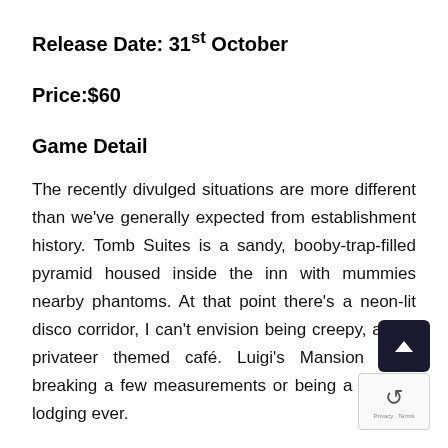Release Date: 31st October
Price:$60
Game Detail
The recently divulged situations are more different than we've generally expected from establishment history. Tomb Suites is a sandy, booby-trap-filled pyramid housed inside the inn with mummies nearby phantoms. At that point there's a neon-lit disco corridor, I can't envision being creepy, and a privateer themed café. Luigi's Mansion 3 is breaking a few measurements or being a themed lodging ever.